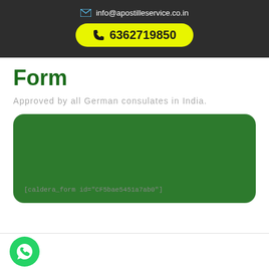info@apostilleservice.co.in  6362719850
Form
Approved by all German consulates in India.
[caldera_form id="CF5bae5451a7ab0"]
[Figure (logo): WhatsApp logo icon - green circle with white phone handset]